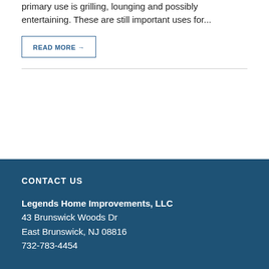…still allow allowing access from the ground. The primary use is grilling, lounging and possibly entertaining. These are still important uses for…
READ MORE →
CONTACT US
Legends Home Improvements, LLC
43 Brunswick Woods Dr
East Brunswick, NJ 08816
732-783-4454